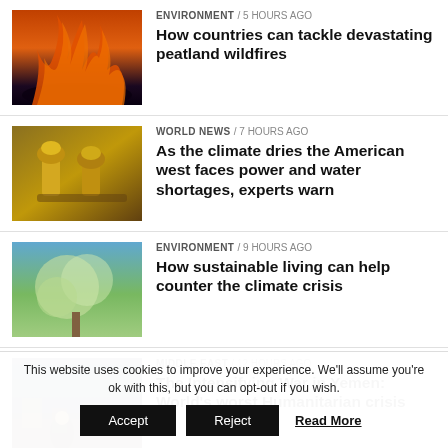ENVIRONMENT / 5 hours ago — How countries can tackle devastating peatland wildfires
WORLD NEWS / 7 hours ago — As the climate dries the American west faces power and water shortages, experts warn
ENVIRONMENT / 9 hours ago — How sustainable living can help counter the climate crisis
MIDDLE EAST / 12 hours ago — The Intensifying War in Yemen: World's worst Humanitarian crisis
This website uses cookies to improve your experience. We'll assume you're ok with this, but you can opt-out if you wish.